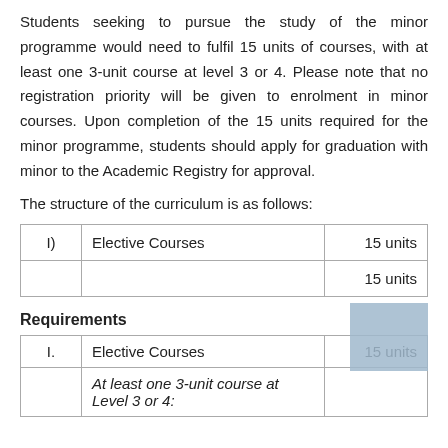Students seeking to pursue the study of the minor programme would need to fulfil 15 units of courses, with at least one 3-unit course at level 3 or 4. Please note that no registration priority will be given to enrolment in minor courses. Upon completion of the 15 units required for the minor programme, students should apply for graduation with minor to the Academic Registry for approval.
The structure of the curriculum is as follows:
|  |  |  |
| --- | --- | --- |
| I) | Elective Courses | 15 units |
|  |  | 15 units |
Requirements
|  |  |  |
| --- | --- | --- |
| I. | Elective Courses | 15 units |
|  | At least one 3-unit course at Level 3 or 4: |  |